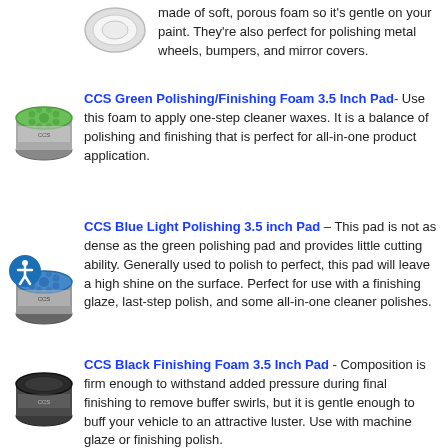made of soft, porous foam so it's gentle on your paint. They're also perfect for polishing metal wheels, bumpers, and mirror covers.
CCS Green Polishing/Finishing Foam 3.5 Inch Pad- Use this foam to apply one-step cleaner waxes. It is a balance of polishing and finishing that is perfect for all-in-one product application.
CCS Blue Light Polishing 3.5 inch Pad – This pad is not as dense as the green polishing pad and provides little cutting ability. Generally used to polish to perfect, this pad will leave a high shine on the surface. Perfect for use with a finishing glaze, last-step polish, and some all-in-one cleaner polishes.
CCS Black Finishing Foam 3.5 Inch Pad - Composition is firm enough to withstand added pressure during final finishing to remove buffer swirls, but it is gentle enough to buff your vehicle to an attractive luster. Use with machine glaze or finishing polish.